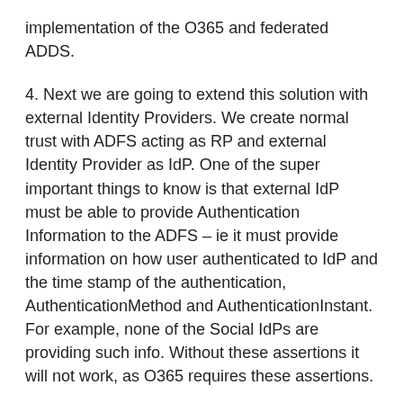implementation of the O365 and federated ADDS.
4. Next we are going to extend this solution with external Identity Providers. We create normal trust with ADFS acting as RP and external Identity Provider as IdP. One of the super important things to know is that external IdP must be able to provide Authentication Information to the ADFS – ie it must provide information on how user authenticated to IdP and the time stamp of the authentication,  AuthenticationMethod and AuthenticationInstant. For example, none of the Social IdPs are providing such info. Without these assertions it will not work, as O365 requires these assertions.
5. On the incoming trust claims rule of the IdP in ADFS, create the following three rules: